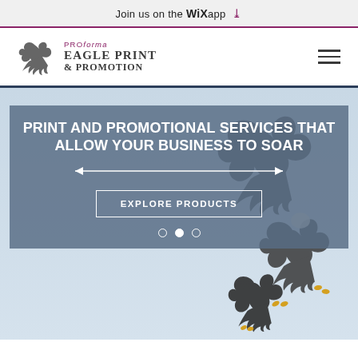Join us on the WiX app ⬇
[Figure (logo): PROforma Eagle Print & Promotion logo with eagle silhouette]
[Figure (illustration): Hero banner with eagles in flight over light blue sky background, with overlay panel containing promotional text]
PRINT AND PROMOTIONAL SERVICES THAT ALLOW YOUR BUSINESS TO SOAR
EXPLORE PRODUCTS